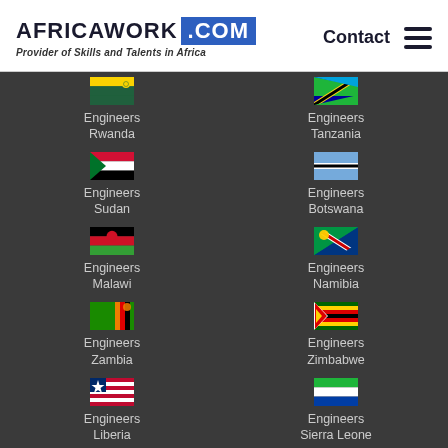AFRICAWORK .COM — Provider of Skills and Talents in Africa | Contact
[Figure (infographic): Grid of 10 country engineer links with flags: Rwanda, Tanzania, Sudan, Botswana, Malawi, Namibia, Zambia, Zimbabwe, Liberia, Sierra Leone]
Engineers Rwanda
Engineers Tanzania
Engineers Sudan
Engineers Botswana
Engineers Malawi
Engineers Namibia
Engineers Zambia
Engineers Zimbabwe
Engineers Liberia
Engineers Sierra Leone